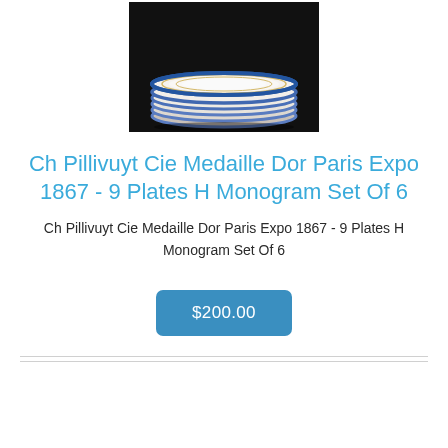[Figure (photo): A stack of white plates with blue rims, photographed on a dark background]
Ch Pillivuyt Cie Medaille Dor Paris Expo 1867 - 9 Plates H Monogram Set Of 6
Ch Pillivuyt Cie Medaille Dor Paris Expo 1867 - 9 Plates H Monogram Set Of 6
$200.00